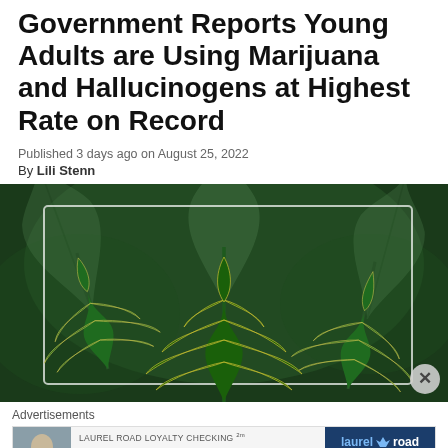Government Reports Young Adults are Using Marijuana and Hallucinogens at Highest Rate on Record
Published 3 days ago on August 25, 2022
By Lili Stenn
[Figure (photo): Photo of three cannabis/marijuana leaves in foreground against a blurred dark green background of cannabis plants]
Advertisements
[Figure (other): Advertisement banner for Laurel Road Loyalty Checking: 'The only checking rewards that pay you when you get paid.' with Laurel Road logo on right side.]